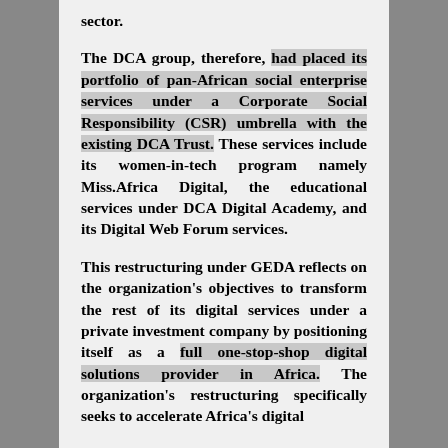sector.
The DCA group, therefore, had placed its portfolio of pan-African social enterprise services under a Corporate Social Responsibility (CSR) umbrella with the existing DCA Trust. These services include its women-in-tech program namely Miss.Africa Digital, the educational services under DCA Digital Academy, and its Digital Web Forum services.
This restructuring under GEDA reflects on the organization's objectives to transform the rest of its digital services under a private investment company by positioning itself as a full one-stop-shop digital solutions provider in Africa. The organization's restructuring specifically seeks to accelerate Africa's digital